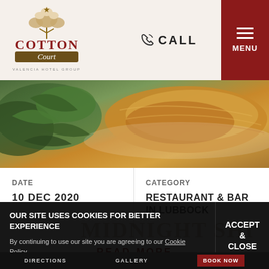[Figure (logo): Cotton Court hotel logo with cotton plant icon and text 'COTTON Court' and 'VALENCIA HOTEL GROUP' below]
CALL
MENU
[Figure (photo): Close-up food photo showing what appears to be a breaded/fried item with green salad leaves]
DATE
10 DEC 2020
CATEGORY
RESTAURANT & BAR IN LUBBOCK
READ MORE
OUR SITE USES COOKIES FOR BETTER EXPERIENCE
By continuing to use our site you are agreeing to our Cookie Policy.
ACCEPT & CLOSE
DIRECTIONS
GALLERY
BOOK NOW